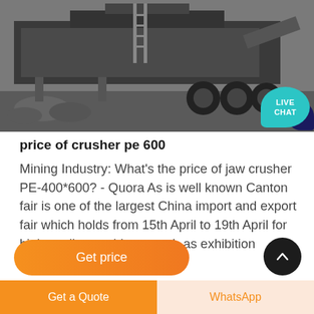[Figure (photo): Industrial jaw crusher machine on a truck/trailer in an outdoor setting, black and white / grayscale photo with live chat bubble overlay in teal color in bottom right corner]
price of crusher pe 600
Mining Industry: What's the price of jaw crusher PE-400*600? - Quora As is well known Canton fair is one of the largest China import and export fair which holds from 15th April to 19th April for high quality machinery such as exhibition
Get price
Get a Quote
WhatsApp